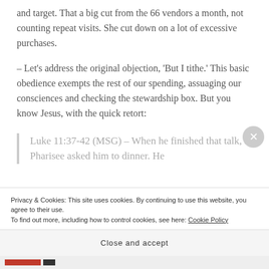and target. That a big cut from the 66 vendors a month, not counting repeat visits. She cut down on a lot of excessive purchases.
– Let’s address the original objection, ‘But I tithe.’ This basic obedience exempts the rest of our spending, assuaging our consciences and checking the stewardship box. But you know Jesus, with the quick retort:
Luke 11:37-42 (MSG) – When he finished that talk, a Pharisee asked him to dinner. He
Privacy & Cookies: This site uses cookies. By continuing to use this website, you agree to their use.
To find out more, including how to control cookies, see here: Cookie Policy
Close and accept